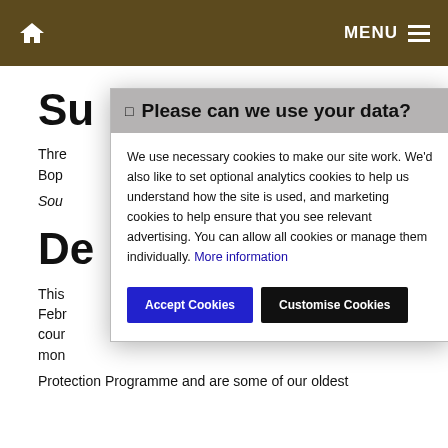Home | MENU
Su…
Thre… Bop…
Sou…
De…
This… Febr… cour… mon…
Protection Programme and are some of our oldest
[Figure (screenshot): Cookie consent modal dialog with header 'Please can we use your data?', body text about necessary, analytics and marketing cookies, a 'More information' link, and two buttons: 'Accept Cookies' (blue) and 'Customise Cookies' (black).]